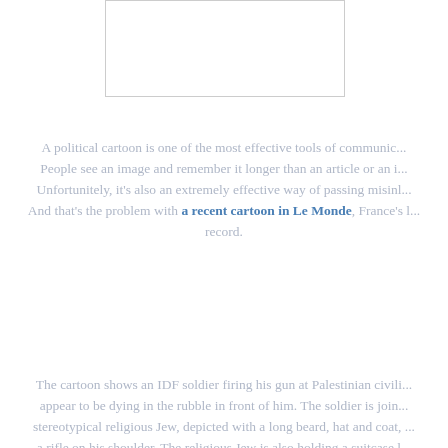[Figure (other): Empty white box with light gray border at the top of the page]
A political cartoon is one of the most effective tools of communic... People see an image and remember it longer than an article or an i... Unfortunitely, it's also an extremely effective way of passing misinl... And that's the problem with a recent cartoon in Le Monde, France's l... record.
The cartoon shows an IDF soldier firing his gun at Palestinian civili... appear to be dying in the rubble in front of him. The soldier is join... stereotypical religious Jew, depicted with a long beard, hat and coat, ... a rifle on his shoulder. The religious Jew is also holding a suitcase l... New Settlements, and he's telling the soldier: "Can't you shoot any q... I'm in a hurry to move in!" In the background, an Israeli helicopter g... on Palestinian buildings.
The meaning of the cartoon is unmistakable: Israel is intentionally... Palestinians in order to steal the land for its own use
The cartoon, by veteran cartoonist Jean Plantureux (known as Plan... shocking not only because of its false and gruesome depiction of I... soldiers and its caricature of the religious but also because it comes... of deep soul searching in Israel over the death of a Palestinian baby,... killed in a house fire widely believed to have been set by Jewish ex...
The incident was widely condemned...